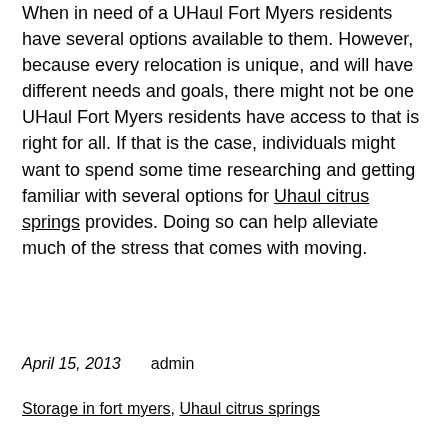When in need of a UHaul Fort Myers residents have several options available to them. However, because every relocation is unique, and will have different needs and goals, there might not be one UHaul Fort Myers residents have access to that is right for all. If that is the case, individuals might want to spend some time researching and getting familiar with several options for Uhaul citrus springs provides. Doing so can help alleviate much of the stress that comes with moving.
April 15, 2013    admin
Storage in fort myers, Uhaul citrus springs